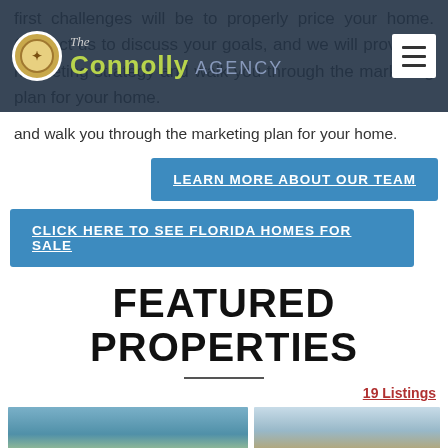The Connolly Agency — navigation bar with logo and hamburger menu
first challenges will be to properly price your home. Contact us to discuss your goals, and we will provide a marketing strategy and walk you through the marketing plan for your home.
LEARN MORE ABOUT OUR TEAM
CLICK HERE TO SEE FLORIDA HOMES FOR SALE
FEATURED PROPERTIES
19 Listings
[Figure (photo): Aerial view of a Florida waterway and landscape]
[Figure (photo): Coastal scene with clouds and a lamp post]